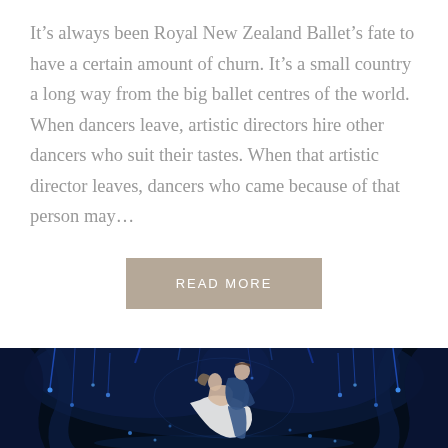It’s always been Royal New Zealand Ballet’s fate to have a certain amount of churn. It’s a small country a long way from the big ballet centres of the world. When dancers leave, artistic directors hire other dancers who suit their tastes. When that artistic director leaves, dancers who came because of that person may…
READ MORE
[Figure (photo): A ballet performance photo showing two dancers on a darkly lit stage with blue atmospheric lighting and draping scenery. A male dancer in blue supports a female dancer in a white dress who arches backward in a dip pose.]